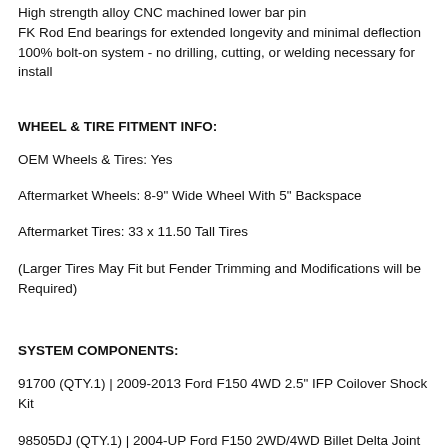High strength alloy CNC machined lower bar pin
FK Rod End bearings for extended longevity and minimal deflection
100% bolt-on system - no drilling, cutting, or welding necessary for install
WHEEL & TIRE FITMENT INFO:
OEM Wheels & Tires: Yes
Aftermarket Wheels: 8-9" Wide Wheel With 5" Backspace
Aftermarket Tires: 33 x 11.50 Tall Tires
(Larger Tires May Fit but Fender Trimming and Modifications will be Required)
SYSTEM COMPONENTS:
91700 (QTY.1) | 2009-2013 Ford F150 4WD 2.5" IFP Coilover Shock Kit
98505DJ (QTY.1) | 2004-UP Ford F150 2WD/4WD Billet Delta Joint Upper Control Arm Kit